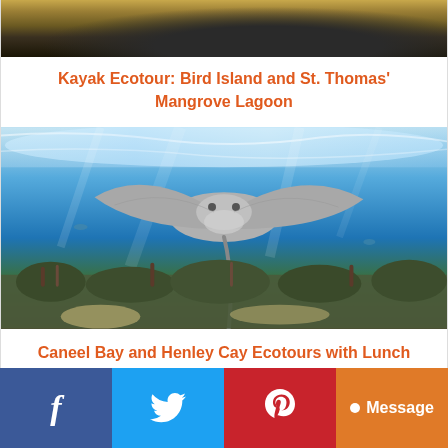[Figure (photo): Top portion of a boat with motor on golden/dark water, partially cropped at top]
Kayak Ecotour: Bird Island and St. Thomas' Mangrove Lagoon
[Figure (photo): Underwater photo of a stingray gliding above coral reef in blue water]
Caneel Bay and Henley Cay Ecotours with Lunch
f  [Twitter bird]  [Pinterest P]  Message